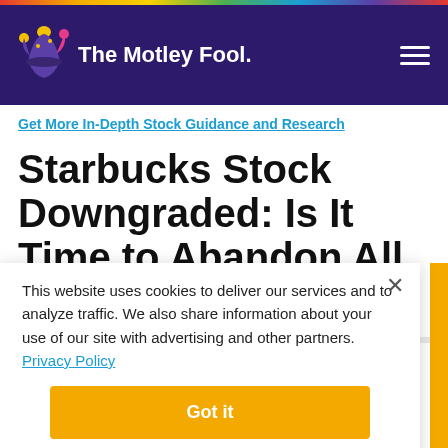The Motley Fool
Get More In-Depth Stock Guidance and Research
Starbucks Stock Downgraded: Is It Time to Abandon All Hope?
This website uses cookies to deliver our services and to analyze traffic. We also share information about your use of our site with advertising and other partners. Privacy Policy
Got it
Cookie Settings